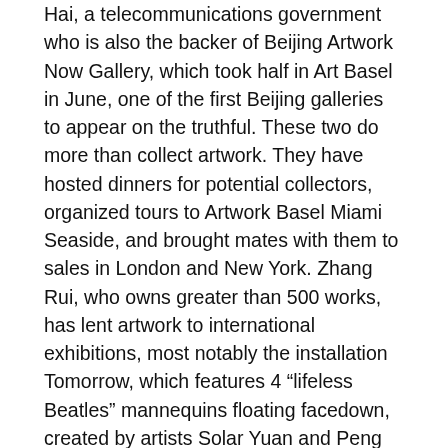Hai, a telecommunications government who is also the backer of Beijing Artwork Now Gallery, which took half in Art Basel in June, one of the first Beijing galleries to appear on the truthful. These two do more than collect artwork. They have hosted dinners for potential collectors, organized tours to Artwork Basel Miami Seaside, and brought mates with them to sales in London and New York. Zhang Rui, who owns greater than 500 works, has lent artwork to international exhibitions, most notably the installation Tomorrow, which features 4 “lifeless Beatles” mannequins floating facedown, created by artists Solar Yuan and Peng Yu for the 2006 Liverpool Biennial, which rejected it.
Summary art or, abstractionism, is among the most prestigious in modern artwork. By extra-ordinary mixtures of shapes and varied colors it meant to inspire and to